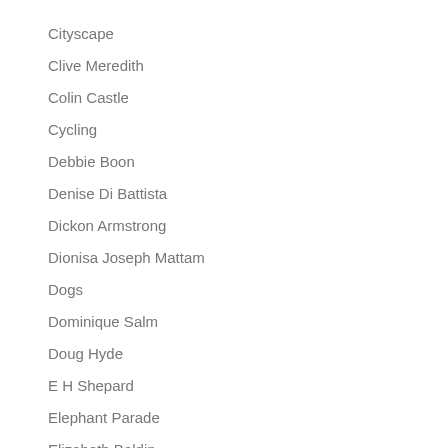Cityscape
Clive Meredith
Colin Castle
Cycling
Debbie Boon
Denise Di Battista
Dickon Armstrong
Dionisa Joseph Mattam
Dogs
Dominique Salm
Doug Hyde
E H Shepard
Elephant Parade
Elizabeth Baldin
Elizabeth Connolly